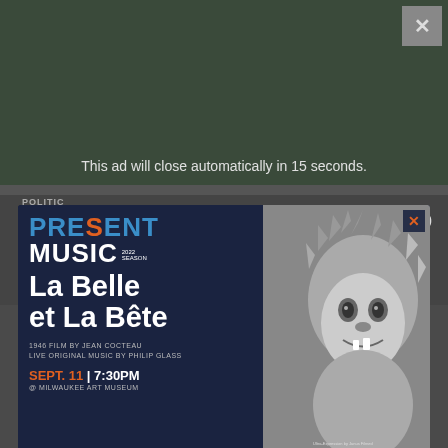This ad will close automatically in 15 seconds.
POLITICS
Contri... 50
May 7, 20...
[Figure (screenshot): Advertisement popup for Present Music 2022 Season: La Belle et La Bête. 1946 film by Jean Cocteau. Live original music by Philip Glass. Sept. 11 | 7:30PM @ Milwaukee Art Museum. Tickets Start at $15 · Get Yours HERE! Features a black and white image of a beast creature. UPAF logo shown. Sponsored by United Performing Arts Fund.]
Tired of seeing banner ads on Urban Milwaukee?
Become a member for $9/month.